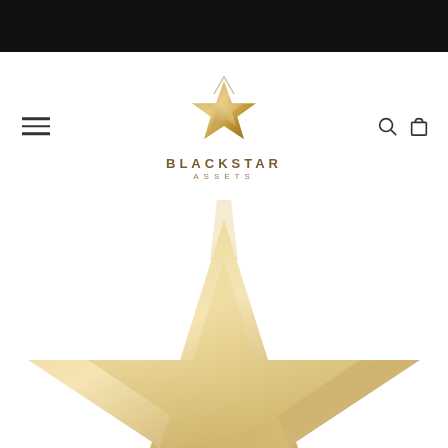[Figure (logo): Blackstar Assets logo — a gold star with swoosh lines above the text BLACKSTAR ASSETS, centered in the header navigation bar. Below the nav is a large background watermark of the same star logo in light gold/beige tones.]